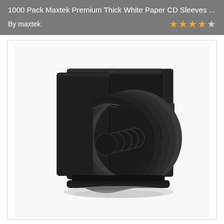1000 Pack Maxtek Premium Thick White Paper CD Sleeves ...
By maxtek
[Figure (photo): Black multi-disc CD/DVD case with fan of black discs visible, opened and displayed against white background]